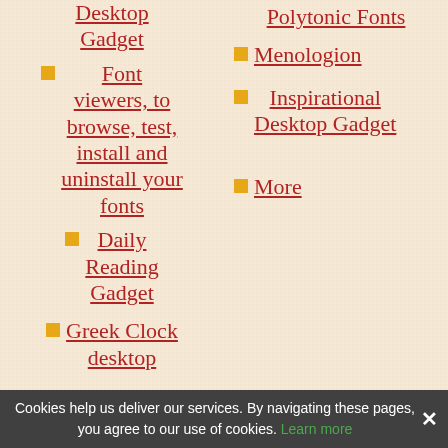Desktop Gadget
Font viewers, to browse, test, install and uninstall your fonts
Daily Reading Gadget
Greek Clock desktop
Polytonic Fonts
Menologion
Inspirational Desktop Gadget
More
Cookies help us deliver our services. By navigating these pages, you agree to our use of cookies. Learn more ×